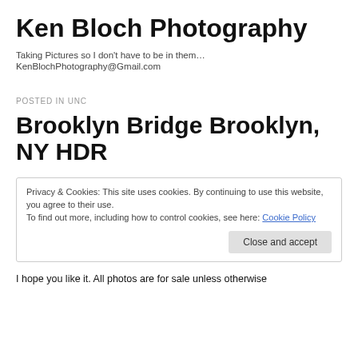Ken Bloch Photography
Taking Pictures so I don't have to be in them…
KenBlochPhotography@Gmail.com
POSTED IN UNC
Brooklyn Bridge Brooklyn, NY HDR
Privacy & Cookies: This site uses cookies. By continuing to use this website, you agree to their use.
To find out more, including how to control cookies, see here: Cookie Policy
Close and accept
I hope you like it. All photos are for sale unless otherwise